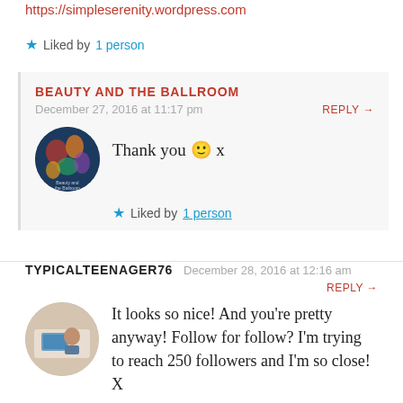https://simpleserenity.wordpress.com
★ Liked by 1 person
BEAUTY AND THE BALLROOM
December 27, 2016 at 11:17 pm
REPLY →
Thank you 🙂 x
★ Liked by 1 person
TYPICALTEENAGER76
December 28, 2016 at 12:16 am
REPLY →
It looks so nice! And you're pretty anyway! Follow for follow? I'm trying to reach 250 followers and I'm so close! X